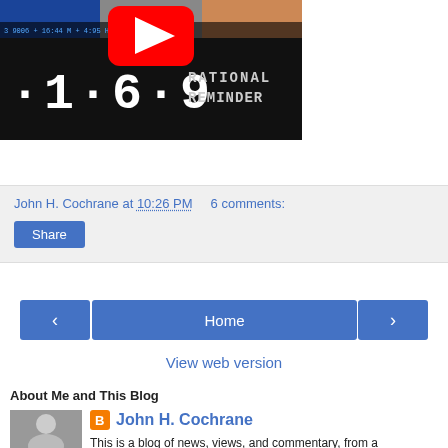[Figure (screenshot): YouTube video thumbnail showing 'Rational Reminder' episode 169, with a YouTube play button overlay, dotted LED-style number '169', and 'RATIONAL REMINDER' text on a dark background. Stock ticker bar visible at top.]
John H. Cochrane at 10:26 PM   6 comments:
Share
Home
View web version
About Me and This Blog
John H. Cochrane
This is a blog of news, views, and commentary, from a